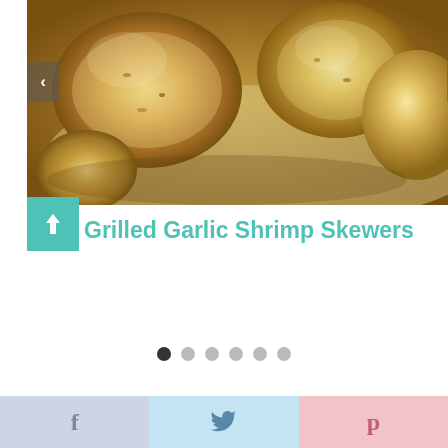[Figure (photo): Close-up photo of grilled garlic shrimp skewers, golden-brown with garlic seasoning, on a light background. Carousel with left and right navigation arrows.]
Grilled Garlic Shrimp Skewers
[Figure (infographic): Carousel navigation dots — 6 dots, first one filled dark, rest light gray]
[Figure (infographic): Social sharing bar with three sections: Facebook (f), Twitter (bird icon), Pinterest (P)]